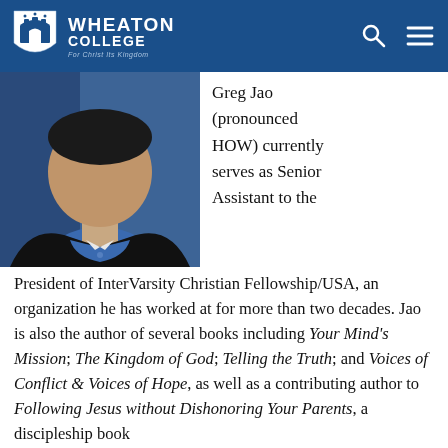WHEATON COLLEGE - For Christ Its Kingdom
[Figure (photo): Headshot photo of Greg Jao, a man in a blue shirt and dark jacket against a blue background]
Greg Jao (pronounced HOW) currently serves as Senior Assistant to the President of InterVarsity Christian Fellowship/USA, an organization he has worked at for more than two decades. Jao is also the author of several books including Your Mind's Mission; The Kingdom of God; Telling the Truth; and Voices of Conflict & Voices of Hope, as well as a contributing author to Following Jesus without Dishonoring Your Parents, a discipleship book